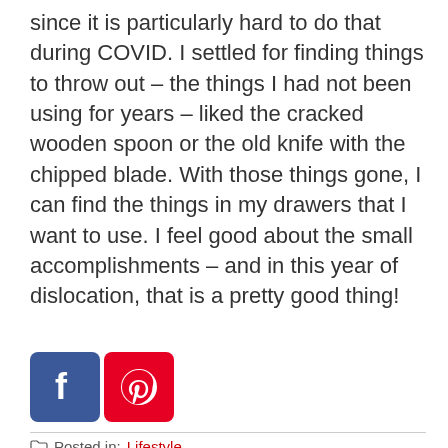since it is particularly hard to do that during COVID. I settled for finding things to throw out – the things I had not been using for years – liked the cracked wooden spoon or the old knife with the chipped blade.  With those things gone, I can find the things in my drawers that I want to use.  I feel good about the small accomplishments – and in this year of dislocation, that is a pretty good thing!
[Figure (logo): Facebook and Pinterest social sharing icons]
Posted in: Lifestyle